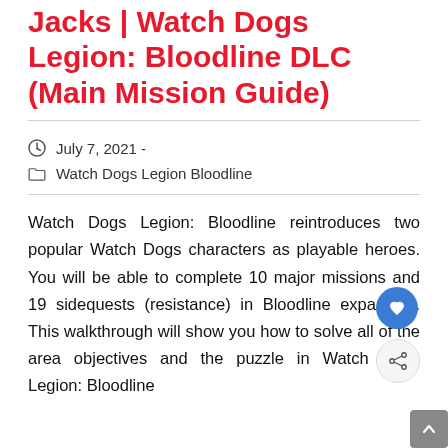Jacks | Watch Dogs Legion: Bloodline DLC (Main Mission Guide)
July 7, 2021 -
Watch Dogs Legion Bloodline
Watch Dogs Legion: Bloodline reintroduces two popular Watch Dogs characters as playable heroes. You will be able to complete 10 major missions and 19 sidequests (resistance) in Bloodline expansion. This walkthrough will show you how to solve all of the area objectives and the puzzle in Watch Dogs Legion: Bloodline